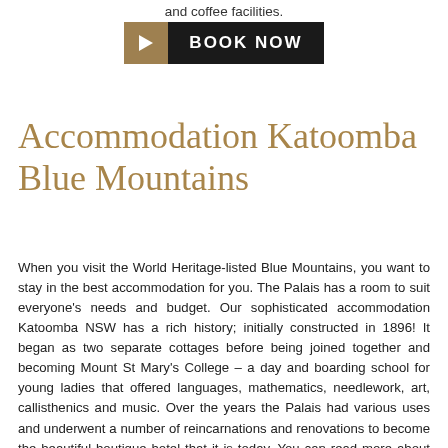and coffee facilities.
[Figure (other): Book Now button with gold arrow and black background]
Accommodation Katoomba Blue Mountains
When you visit the World Heritage-listed Blue Mountains, you want to stay in the best accommodation for you. The Palais has a room to suit everyone's needs and budget. Our sophisticated accommodation Katoomba NSW has a rich history; initially constructed in 1896! It began as two separate cottages before being joined together and becoming Mount St Mary's College – a day and boarding school for young ladies that offered languages, mathematics, needlework, art, callisthenics and music. Over the years the Palais had various uses and underwent a number of reincarnations and renovations to become the beautiful boutique hotel that it is today. You can read more about the history of this fascinating Katoomba accommodation here.